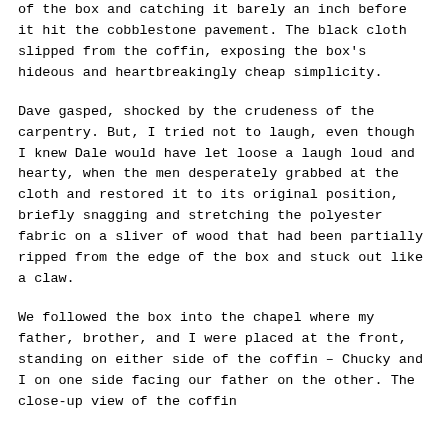of the box and catching it barely an inch before it hit the cobblestone pavement. The black cloth slipped from the coffin, exposing the box's hideous and heartbreakingly cheap simplicity.
Dave gasped, shocked by the crudeness of the carpentry. But, I tried not to laugh, even though I knew Dale would have let loose a laugh loud and hearty, when the men desperately grabbed at the cloth and restored it to its original position, briefly snagging and stretching the polyester fabric on a sliver of wood that had been partially ripped from the edge of the box and stuck out like a claw.
We followed the box into the chapel where my father, brother, and I were placed at the front, standing on either side of the coffin – Chucky and I on one side facing our father on the other. The close-up view of the coffin